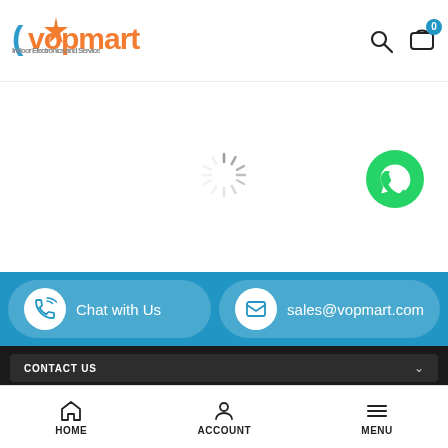[Figure (logo): Vopmart logo with orange star and blue bracket, subtitle 'Indoor Electronics and Service']
[Figure (other): Loading spinner (animated radial lines)]
[Figure (other): WhatsApp green chat bubble icon]
Chat with Us
sales@vopmart.com
CONTACT US
ABOUT US
INFORMATION
CUSTOM SERVICES
HOME   ACCOUNT   MENU